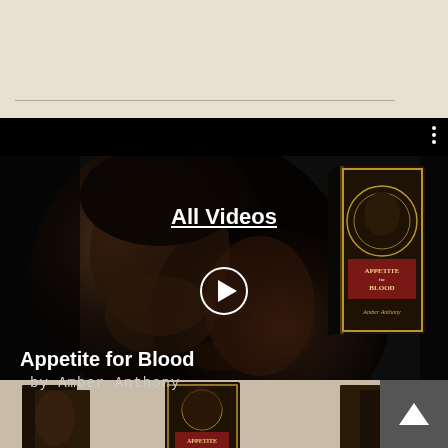[Figure (screenshot): Top beige/cream section of a webpage, empty content area with a thin horizontal separator line]
[Figure (screenshot): Video player section showing dark moody book trailer for 'Appetite for Blood by Amber Anthony'. Features close-up faces of two people in dark lighting on left, a book cover on the right showing an Art Deco style cover with two people embracing. 'All Videos' link with underline is centered at top. A circular play button icon is in the center. Text at bottom reads 'Appetite for Blood' in white bold and 'by Amber Anthony' in lighter text below.]
All Videos
Appetite for Blood
by Amber Anthony
[Figure (screenshot): Bottom partial strip showing book cover images on a beige/tan background - Art Deco styled book covers for 'Appetite for Blood' series by Amber Anthony]